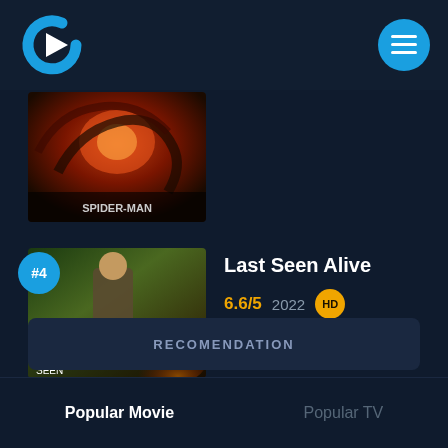[Figure (logo): Streaming app logo: blue C-shaped arc with white play triangle]
[Figure (illustration): Round blue menu/hamburger button with three white horizontal lines]
[Figure (photo): Movie poster thumbnail: Spider-Man No Way Home movie poster]
#4
[Figure (photo): Movie poster thumbnail: Last Seen Alive (2022) showing Gerard Butler with explosion background]
Last Seen Alive
6.6/5  2022  HD
RECOMENDATION
Popular Movie
Popular TV